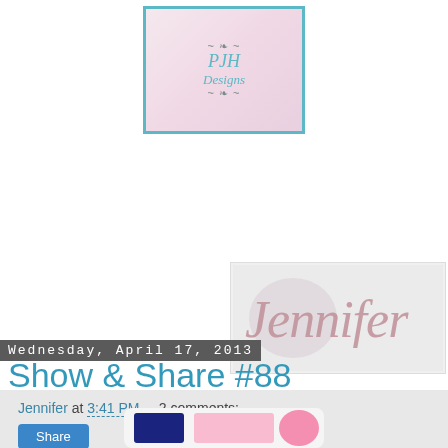[Figure (logo): PJH Designs logo with decorative wreath border on pink/lavender background with teal border]
[Figure (illustration): Cursive handwritten signature reading 'Jennifer' in pink/rose script on light gray background]
Jennifer at 3:41 PM    2 comments:
Share
Wednesday, April 17, 2013
Show & Share #88
[Figure (illustration): Partial view of a color palette or craft/design image with dark navy and pink colors]